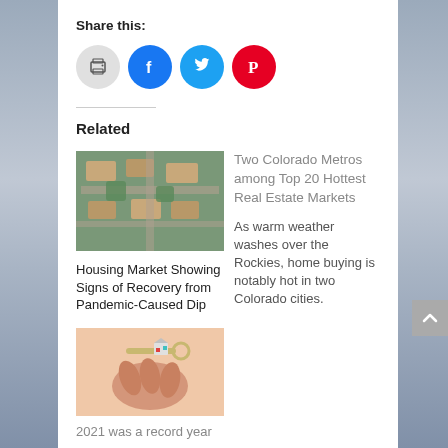Share this:
[Figure (infographic): Social share icons: print (gray circle), Facebook (blue circle), Twitter (cyan circle), Pinterest (red circle)]
Related
[Figure (photo): Aerial view of suburban housing development with roads and trees]
Housing Market Showing Signs of Recovery from Pandemic-Caused Dip
Two Colorado Metros among Top 20 Hottest Real Estate Markets
As warm weather washes over the Rockies, home buying is notably hot in two Colorado cities.
[Figure (photo): Hand holding house keys with a small house keychain]
2021 was a record year